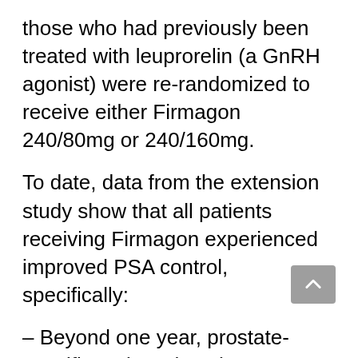those who had previously been treated with leuprorelin (a GnRH agonist) were re-randomized to receive either Firmagon 240/80mg or 240/160mg.
To date, data from the extension study show that all patients receiving Firmagon experienced improved PSA control, specifically:
– Beyond one year, prostate-specific antigen (PSA) suppression was maintained in patients continuing treatment on Firmagon [1,2]
– After switching to Firmagon) patients who initially received leuprorelin